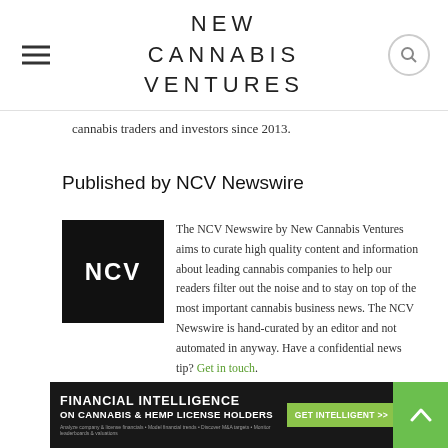NEW CANNABIS VENTURES
cannabis traders and investors since 2013.
Published by NCV Newswire
[Figure (logo): NCV logo — black square with white NCV text]
The NCV Newswire by New Cannabis Ventures aims to curate high quality content and information about leading cannabis companies to help our readers filter out the noise and to stay on top of the most important cannabis business news. The NCV Newswire is hand-curated by an editor and not automated in anyway. Have a confidential news tip? Get in touch.
[Figure (infographic): Financial Intelligence on Cannabis & Hemp License Holders banner advertisement with Get Intelligent >> button]